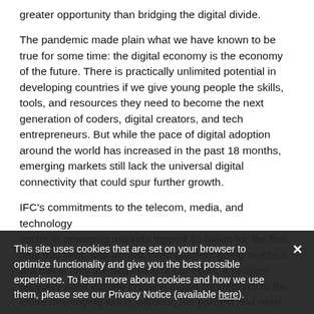greater opportunity than bridging the digital divide.
The pandemic made plain what we have known to be true for some time: the digital economy is the economy of the future. There is practically unlimited potential in developing countries if we give young people the skills, tools, and resources they need to become the next generation of coders, digital creators, and tech entrepreneurs. But while the pace of digital adoption around the world has increased in the past 18 months, emerging markets still lack the universal digital connectivity that could spur further growth.
IFC's commitments to the telecom, media, and technology sector in emerging markets topped $1 billion for the first time this year, with almost three quarters going to Africa. But this is only the beginning of our effort. A resilient recovery must include bringing digital connectivity to the entire developing world, allowing the poorest and most marginalized among us to access online learning and work
This site uses cookies that are set on your browser to optimize functionality and give you the best possible experience. To learn more about cookies and how we use them, please see our Privacy Notice (available here).